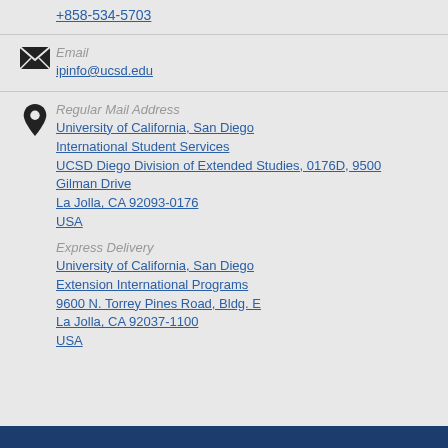+858-534-5703
Email
ipinfo@ucsd.edu
Regular Mail Address
University of California, San Diego
International Student Services
UCSD Diego Division of Extended Studies, 0176D, 9500 Gilman Drive
La Jolla, CA 92093-0176
USA
Express Delivery
University of California, San Diego
Extension International Programs
9600 N. Torrey Pines Road, Bldg. E
La Jolla, CA 92037-1100
USA